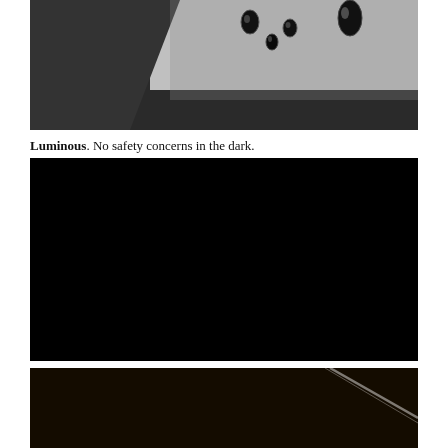[Figure (photo): Close-up photo of water droplets on a dark textured waterproof fabric/material surface, showing both a rough textile weave on the left and a smooth dark surface on the right with several water droplets beading up.]
Luminous. No safety concerns in the dark.
[Figure (photo): Completely black image, likely showing a luminous/glow-in-the-dark product or material in a dark environment with no visible light.]
[Figure (photo): Dark image showing what appears to be a reflective surface or material with a thin bright light streak/reflection visible diagonally across the dark background.]